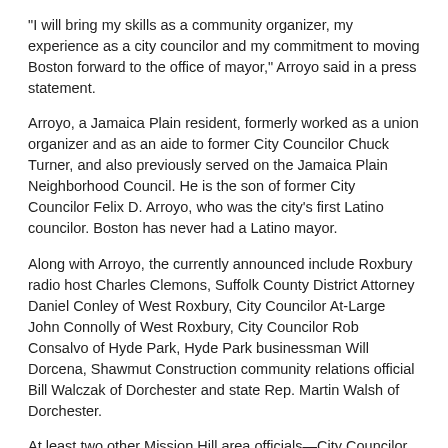"I will bring my skills as a community organizer, my experience as a city councilor and my commitment to moving Boston forward to the office of mayor," Arroyo said in a press statement.
Arroyo, a Jamaica Plain resident, formerly worked as a union organizer and as an aide to former City Councilor Chuck Turner, and also previously served on the Jamaica Plain Neighborhood Council. He is the son of former City Councilor Felix D. Arroyo, who was the city's first Latino councilor. Boston has never had a Latino mayor.
Along with Arroyo, the currently announced include Roxbury radio host Charles Clemons, Suffolk County District Attorney Daniel Conley of West Roxbury, City Councilor At-Large John Connolly of West Roxbury, City Councilor Rob Consalvo of Hyde Park, Hyde Park businessman Will Dorcena, Shawmut Construction community relations official Bill Walczak of Dorchester and state Rep. Martin Walsh of Dorchester.
At least two other Mission Hill area officials—City Councilor Mike Ross and state Rep. Jeffrey Sánchez— are still considering a run.